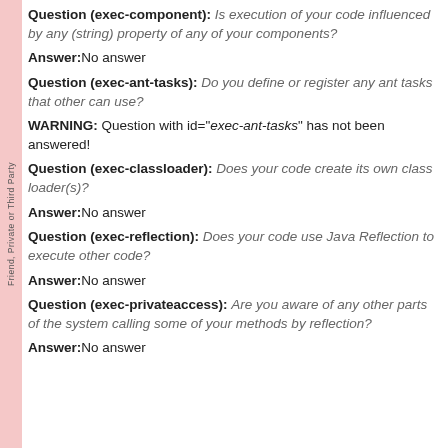Question (exec-component): Is execution of your code influenced by any (string) property of any of your components?
Answer: No answer
Question (exec-ant-tasks): Do you define or register any ant tasks that other can use?
WARNING: Question with id="exec-ant-tasks" has not been answered!
Question (exec-classloader): Does your code create its own class loader(s)?
Answer: No answer
Question (exec-reflection): Does your code use Java Reflection to execute other code?
Answer: No answer
Question (exec-privateaccess): Are you aware of any other parts of the system calling some of your methods by reflection?
Answer: No answer